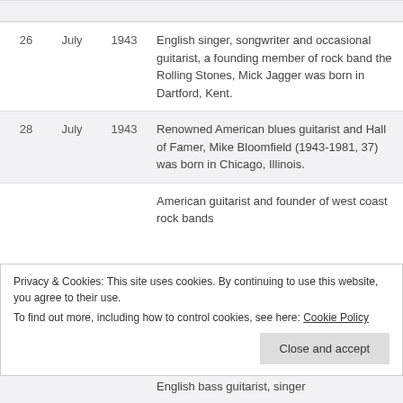| Day | Month | Year | Description |
| --- | --- | --- | --- |
| 26 | July | 1943 | English singer, songwriter and occasional guitarist, a founding member of rock band the Rolling Stones, Mick Jagger was born in Dartford, Kent. |
| 28 | July | 1943 | Renowned American blues guitarist and Hall of Famer, Mike Bloomfield (1943-1981, 37) was born in Chicago, Illinois. |
|  |  |  | American guitarist and founder of west coast rock bands |
|  |  |  | English bass guitarist, singer |
Privacy & Cookies: This site uses cookies. By continuing to use this website, you agree to their use. To find out more, including how to control cookies, see here: Cookie Policy